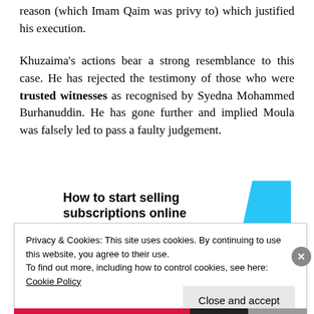reason (which Imam Qaim was privy to) which justified his execution.
Khuzaima's actions bear a strong resemblance to this case. He has rejected the testimony of those who were trusted witnesses as recognised by Syedna Mohammed Burhanuddin. He has gone further and implied Moula was falsely led to pass a faulty judgement.
[Figure (other): Advertisement banner: 'How to start selling subscriptions online' with a cyan/light-blue geometric shape on the right]
Privacy & Cookies: This site uses cookies. By continuing to use this website, you agree to their use.
To find out more, including how to control cookies, see here: Cookie Policy
Close and accept